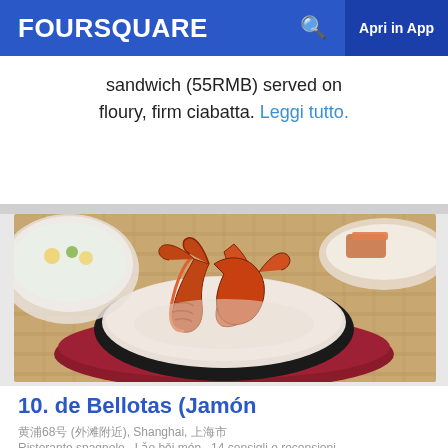FOURSQUARE  🔍  Apri in App
sandwich (55RMB) served on floury, firm ciabatta. Leggi tutto.
[Figure (photo): Bowl of large shrimp/prawns served in a dark ceramic bowl on a red plate, with a white bowl visible in the background.]
10. de Bellotas (Jamón y Vino)
黄浦68号 (外滩附近), Shanghai, 上海市
Ristorante spagnolo · Lǎo běi mén · 14 consigli e recensioni